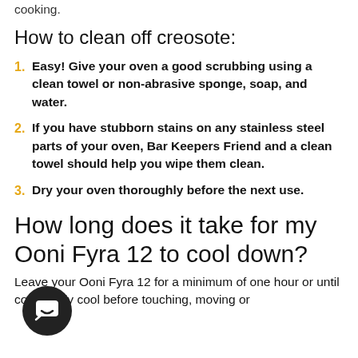cooking.
How to clean off creosote:
1. Easy! Give your oven a good scrubbing using a clean towel or non-abrasive sponge, soap, and water.
2. If you have stubborn stains on any stainless steel parts of your oven, Bar Keepers Friend and a clean towel should help you wipe them clean.
3. Dry your oven thoroughly before the next use.
How long does it take for my Ooni Fyra 12 to cool down?
Leave your Ooni Fyra 12 for a minimum of one hour or until completely cool before touching, moving or